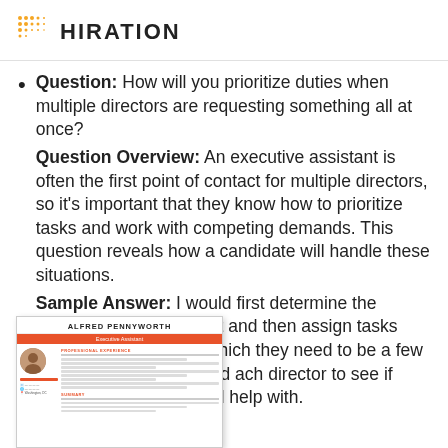HIRATION
Question: How will you prioritize duties when multiple directors are requesting something all at once?
Question Overview: An executive assistant is often the first point of contact for multiple directors, so it's important that they know how to prioritize tasks and work with competing demands. This question reveals how a candidate will handle these situations.
Sample Answer: I would first determine the urgency of each request and then assign tasks based on the order in which they need to be [completed. If I had] a few minutes to spare, I would [check in with e]ach director to see if there [were any task]s that they needed help with.
[What the interviewe]r is looking for:
[Figure (illustration): Resume sample for Alfred Pennyworth, Executive Assistant, partially overlapping the text content at the bottom left of the page.]